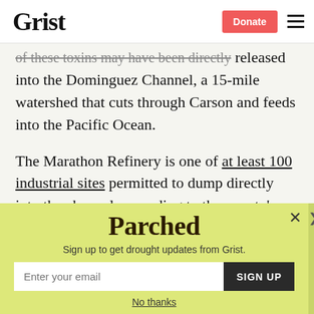Grist | Donate
of these toxins may have been directly released into the Dominguez Channel, a 15-mile watershed that cuts through Carson and feeds into the Pacific Ocean.
The Marathon Refinery is one of at least 100 industrial sites permitted to dump directly into the channel, according to the county's
[Figure (screenshot): Parchea modal popup with yellow-green background. Title: Parchea. Subtitle: Sign up to get drought updates from Grist. Email input field with placeholder 'Enter your email' and a dark SIGN UP button. Below a 'No thanks' underlined link. Close X button in top right.]